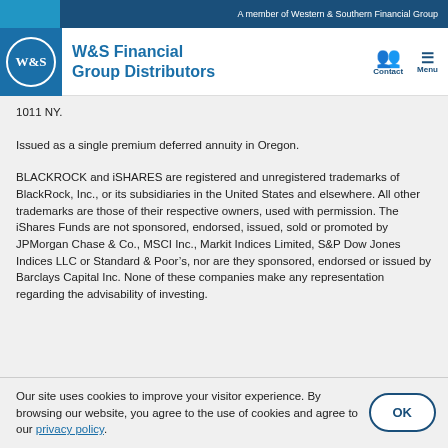A member of Western & Southern Financial Group
[Figure (logo): W&S Financial Group Distributors logo with circular W&S emblem, Contact and Menu navigation icons]
1011 NY.
Issued as a single premium deferred annuity in Oregon.
BLACKROCK and iSHARES are registered and unregistered trademarks of BlackRock, Inc., or its subsidiaries in the United States and elsewhere. All other trademarks are those of their respective owners, used with permission. The iShares Funds are not sponsored, endorsed, issued, sold or promoted by JPMorgan Chase & Co., MSCI Inc., Markit Indices Limited, S&P Dow Jones Indices LLC or Standard & Poor’s, nor are they sponsored, endorsed or issued by Barclays Capital Inc. None of these companies make any representation regarding the advisability of investing.
Our site uses cookies to improve your visitor experience. By browsing our website, you agree to the use of cookies and agree to our privacy policy.